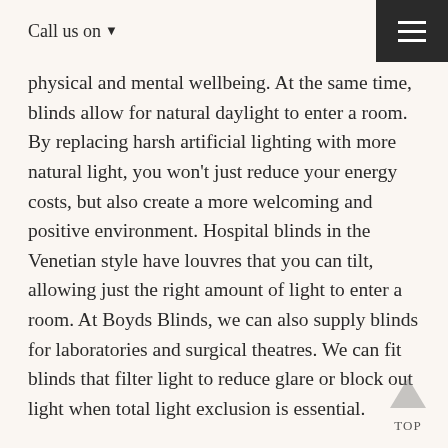Call us on ▼
physical and mental wellbeing. At the same time, blinds allow for natural daylight to enter a room. By replacing harsh artificial lighting with more natural light, you won't just reduce your energy costs, but also create a more welcoming and positive environment. Hospital blinds in the Venetian style have louvres that you can tilt, allowing just the right amount of light to enter a room. At Boyds Blinds, we can also supply blinds for laboratories and surgical theatres. We can fit blinds that filter light to reduce glare or block out light when total light exclusion is essential.